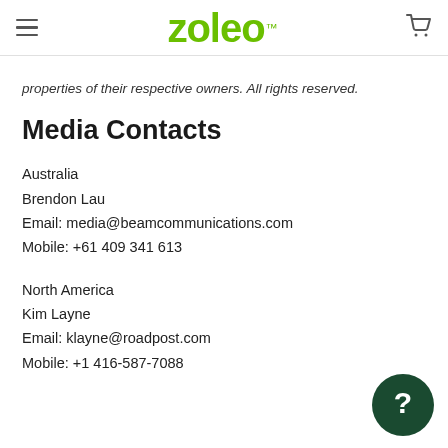ZOLEO™ [hamburger menu] [cart icon]
properties of their respective owners. All rights reserved.
Media Contacts
Australia
Brendon Lau
Email: media@beamcommunications.com
Mobile: +61 409 341 613
North America
Kim Layne
Email: klayne@roadpost.com
Mobile: +1 416-587-7088
[Figure (illustration): Dark green circular help/chat button with white question mark icon, positioned bottom-right]